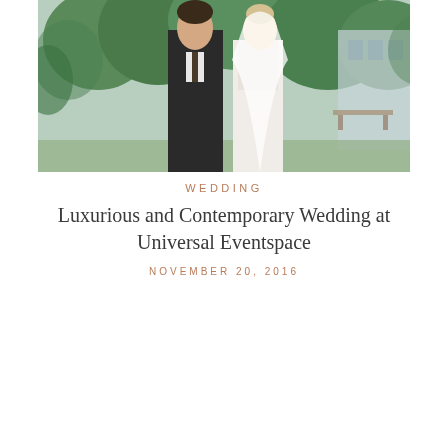[Figure (photo): Wedding couple facing each other closely outdoors. A groom in a dark suit and a bride in a white lace dress with a long veil, surrounded by green trees and foliage.]
WEDDING
Luxurious and Contemporary Wedding at Universal Eventspace
NOVEMBER 20, 2016